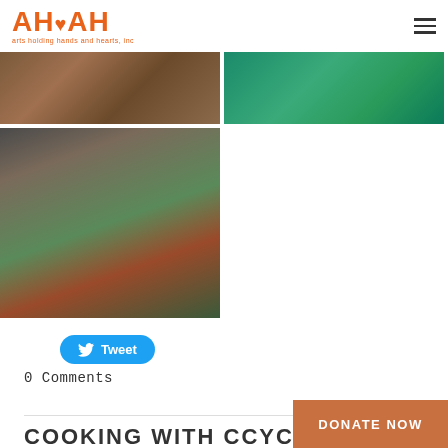AHHAH arts holding hands and hearts, inc
[Figure (photo): Photo of food/baked goods on a table, top-left]
[Figure (photo): Photo of decorated green cupcakes/food on teal background, top-right]
[Figure (photo): Large photo of food items including marshmallows in a cup with green plate and chocolate treats]
Tweet
0 Comments
COOKING WITH CCYC RE...
DONATE NOW